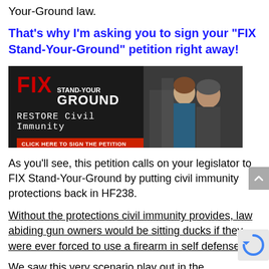Your-Ground law.
That's why I'm asking you to sign your "FIX Stand-Your-Ground" petition right away!
[Figure (infographic): Dark banner image with FIX STAND-YOUR GROUND text in red/white, RESTORE Civil Immunity subtext, two people visible on right side, red button saying CLICK HERE TO SIGN THE PETITION]
As you'll see, this petition calls on your legislator to FIX Stand-Your-Ground by putting civil immunity protections back in HF238.
Without the protections civil immunity provides, law abiding gun owners would be sitting ducks if they were ever forced to use a firearm in self defense.
We saw this very scenario play out in the